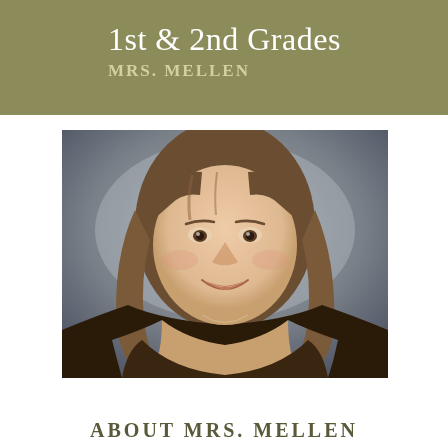1st & 2nd Grades
MRS. MELLEN
[Figure (photo): Professional headshot portrait of Mrs. Mellen, a woman with long brown wavy hair, smiling, wearing a dark brown top and a thin necklace, photographed against a grey studio background.]
ABOUT MRS. MELLEN